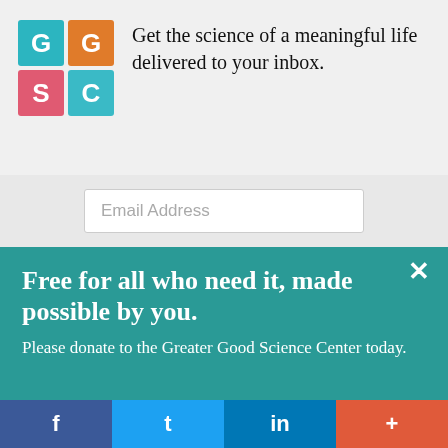[Figure (logo): Greater Good Science Center logo: 2x2 grid of colored squares with letters G, G, S, C]
Get the science of a meaningful life delivered to your inbox.
Email Address
Free for all who need it, made possible by you.
Please donate to the Greater Good Science Center today.
Give Now
f  t  in  +